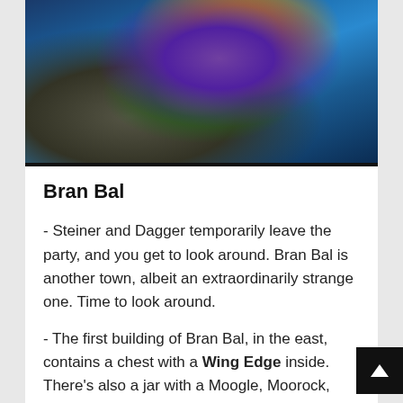[Figure (screenshot): Screenshot from a video game (Final Fantasy IX) showing a purple/blue creature or boss with gold ornamental details in an underwater or crystalline environment with blue tones.]
Bran Bal
- Steiner and Dagger temporarily leave the party, and you get to look around. Bran Bal is another town, albeit an extraordinarily strange one. Time to look around.
- The first building of Bran Bal, in the east, contains a chest with a Wing Edge inside. There's also a jar with a Moogle, Moorock, wriggling about inside. Moorock sells items, and will give you a letter for Mozme.